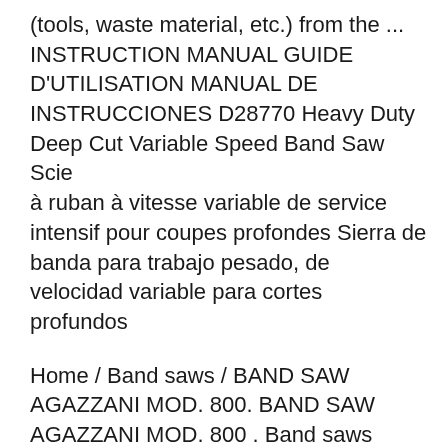(tools, waste material, etc.) from the ... INSTRUCTION MANUAL GUIDE D'UTILISATION MANUAL DE INSTRUCCIONES D28770 Heavy Duty Deep Cut Variable Speed Band Saw Scie à ruban à vitesse variable de service intensif pour coupes profondes Sierra de banda para trabajo pesado, de velocidad variable para cortes profundos
Home / Band saws / BAND SAW AGAZZANI MOD. 800. BAND SAW AGAZZANI MOD. 800 . Band saws Agazzani 800 Second hand 1995. Make: Agazzani. Model: 800. Description: ABAND SAW AGAZZANI MOD. 800 VOLT. 380 CE. Year: 1995. Band saws: Italy: